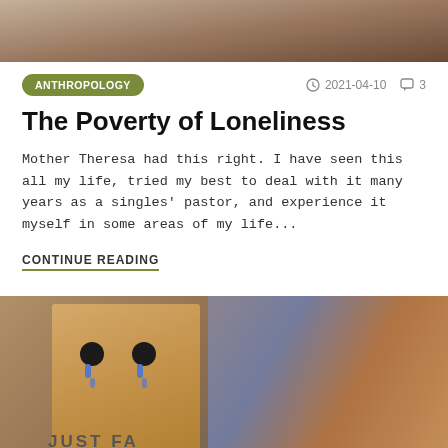[Figure (photo): Top portion of a photo showing a person, cropped, with brownish background tones]
ANTHROPOLOGY
2021-04-10
3
The Poverty of Loneliness
Mother Theresa had this right. I have seen this all my life, tried my best to deal with it many years as a singles' pastor, and experience it myself in some areas of my life...
CONTINUE READING
[Figure (photo): Photo of a person with a brown paper bag over their head with drawn-on eyes and tears, surrounded by people in a crowd]